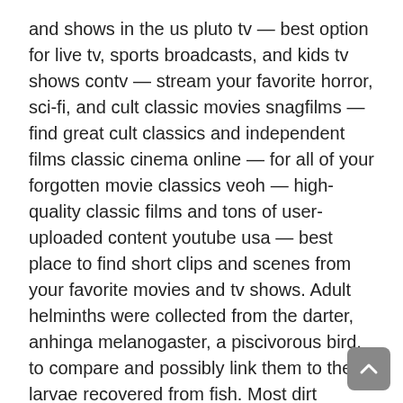and shows in the us pluto tv — best option for live tv, sports broadcasts, and kids tv shows contv — stream your favorite horror, sci-fi, and cult classic movies snagfilms — find great cult classics and independent films classic cinema online — for all of your forgotten movie classics veoh — high-quality classic films and tons of user-uploaded content youtube usa — best place to find short clips and scenes from your favorite movies and tv shows. Adult helminths were collected from the darter, anhinga melanogaster, a piscivorous bird, to compare and possibly link them to the larvae recovered from fish. Most dirt comes dating sites for over 55 from the auto plant and may be due to the painting process itself, poor work practices by the operators, bad air filtration, or poor housekeeping. She asks for a press conference to introduce 55 and older dating sites yi kyung officially as the daughter-in-law. Where supported, the input will be restricted to valid numbers by the browser. So you can continue using chillitalk, even if you change your device. The sheath keeps the tendons in place next to the bones of the finger s or thumb. As with the greater majority of